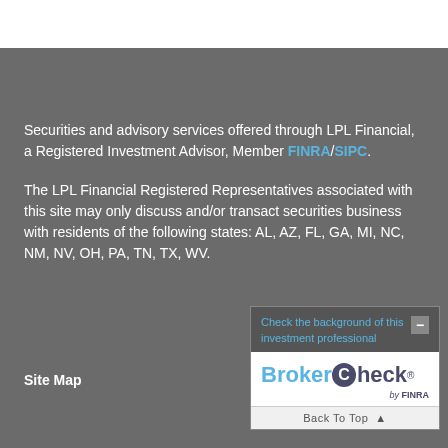Securities and advisory services offered through LPL Financial, a Registered Investment Advisor, Member FINRA/SIPC.
The LPL Financial Registered Representatives associated with this site may only discuss and/or transact securities business with residents of the following states: AL, AZ, FL, GA, MI, NC, NM, NV, OH, PA, TN, TX, WV.
Site Map
[Figure (other): BrokerCheck widget by FINRA showing 'Check the background of this investment professional' with BrokerCheck logo and Back To Top button]